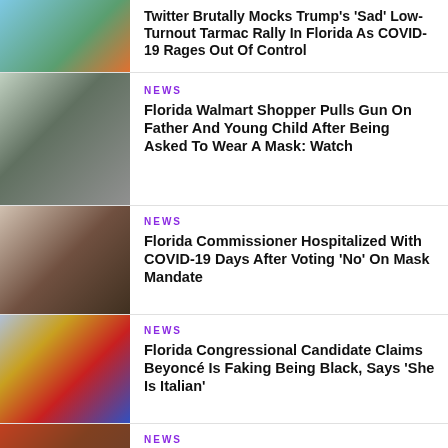[Figure (photo): Crowd at a rally, partial top of page]
Twitter Brutally Mocks Trump's 'Sad' Low-Turnout Tarmac Rally In Florida As COVID-19 Rages Out Of Control
[Figure (photo): Florida Walmart incident, people in store]
NEWS
Florida Walmart Shopper Pulls Gun On Father And Young Child After Being Asked To Wear A Mask: Watch
[Figure (photo): Florida Commissioner at podium]
NEWS
Florida Commissioner Hospitalized With COVID-19 Days After Voting 'No' On Mask Mandate
[Figure (photo): America First banner with flags]
NEWS
Florida Congressional Candidate Claims Beyoncé Is Faking Being Black, Says 'She Is Italian'
[Figure (photo): Road rage incident, black woman and bystanders]
NEWS
Black Woman Credits Two Bystanders For Saving Her Life During Racist Road Rage Attack In Florida